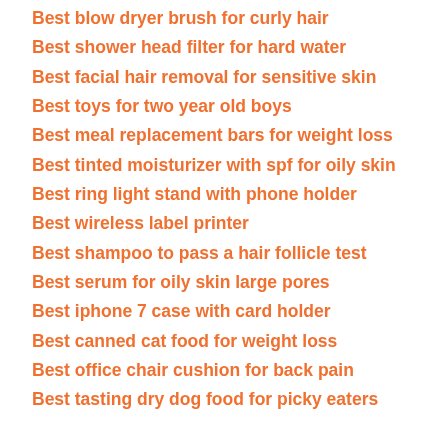Best blow dryer brush for curly hair
Best shower head filter for hard water
Best facial hair removal for sensitive skin
Best toys for two year old boys
Best meal replacement bars for weight loss
Best tinted moisturizer with spf for oily skin
Best ring light stand with phone holder
Best wireless label printer
Best shampoo to pass a hair follicle test
Best serum for oily skin large pores
Best iphone 7 case with card holder
Best canned cat food for weight loss
Best office chair cushion for back pain
Best tasting dry dog food for picky eaters